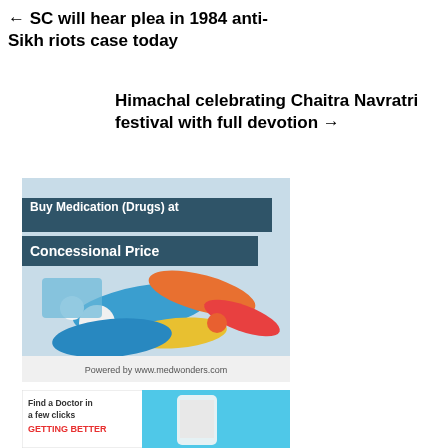← SC will hear plea in 1984 anti-Sikh riots case today
Himachal celebrating Chaitra Navratri festival with full devotion →
[Figure (infographic): Advertisement banner showing colorful pills and capsules with text 'Buy Medication (Drugs) at Concessional Price'. Powered by www.medwonders.com]
[Figure (infographic): Advertisement showing 'Find a Doctor in a few clicks GETTING BETTER' with a smartphone image on cyan background]